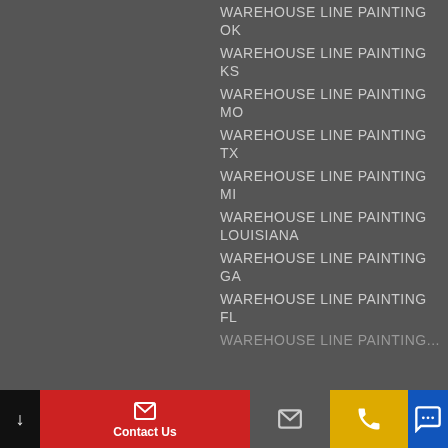WAREHOUSE LINE PAINTING OK
WAREHOUSE LINE PAINTING KS
WAREHOUSE LINE PAINTING MO
WAREHOUSE LINE PAINTING TX
WAREHOUSE LINE PAINTING MI
WAREHOUSE LINE PAINTING LOUISIANA
WAREHOUSE LINE PAINTING GA
WAREHOUSE LINE PAINTING FL
WAREHOUSE LINE PAINTING (continues)
Contact Us | Email | Call | SMS